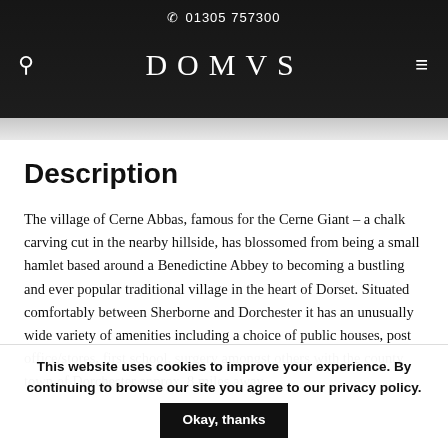☎ 01305 757300  DOMVS
Description
The village of Cerne Abbas, famous for the Cerne Giant – a chalk carving cut in the nearby hillside, has blossomed from being a small hamlet based around a Benedictine Abbey to becoming a bustling and ever popular traditional village in the heart of Dorset. Situated comfortably between Sherborne and Dorchester it has an unusually wide variety of amenities including a choice of public houses, post office/stores, first school, surgery amongst others with the county town of Dorchester approx. 8 miles away.
This website uses cookies to improve your experience. By continuing to browse our site you agree to our privacy policy.